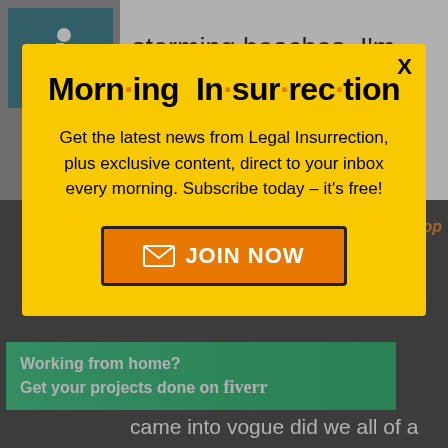troops about the illegality of storming beaches. I'm sure you would cover all of the small legal nuances too.
[Figure (screenshot): Modal popup on a webpage with yellow background containing Morning Insurrection newsletter signup]
Morning Insurrection
Get the latest news from Legal Insurrection, plus exclusive content, direct to your inbox every morning. Subscribe today – it's free!
JOIN NOW
understood exactly what
[Figure (infographic): Green Fiverr advertisement banner]
Working from home? Get your projects done on fiverr
came into vogue did we all of a